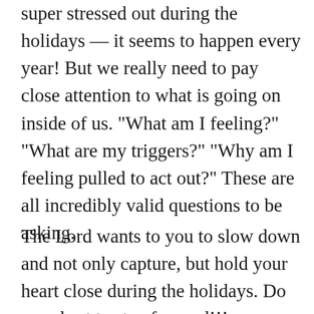super stressed out during the holidays — it seems to happen every year! But we really need to pay close attention to what is going on inside of us. “What am I feeling?” “What are my triggers?” “Why am I feeling pulled to act out?” These are all incredibly valid questions to be asking.
The Lord wants to you to slow down and not only capture, but hold your heart close during the holidays. Do your best to stay focused!!!